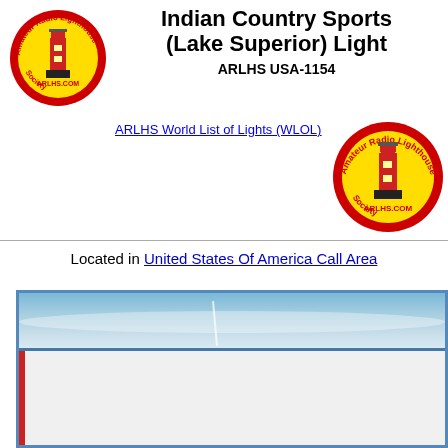[Figure (logo): ARLHS Amateur Radio Lighthouse Society circular logo with red lighthouse on yellow background, left side]
Indian Country Sports (Lake Superior) Light
ARLHS USA-1154
ARLHS World List of Lights (WLOL)
[Figure (logo): ARLHS Amateur Radio Lighthouse Society circular logo with red lighthouse on yellow background, right side]
Located in United States Of America Call Area
[Figure (photo): Partial photo of Indian Country Sports (Lake Superior) Light, showing blue sky with clouds at top and white lower portion with red left border, appears to be cropped lighthouse image]